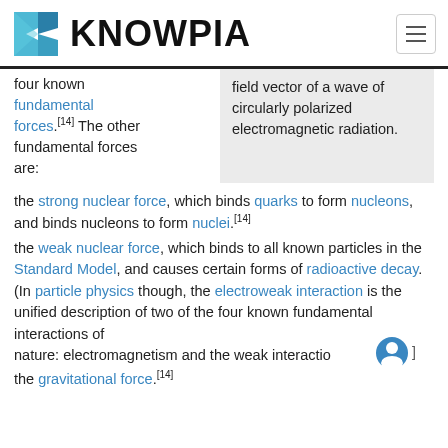KNOWPIA
four known fundamental forces.[14] The other fundamental forces are:
field vector of a wave of circularly polarized electromagnetic radiation.
the strong nuclear force, which binds quarks to form nucleons, and binds nucleons to form nuclei.[14]
the weak nuclear force, which binds to all known particles in the Standard Model, and causes certain forms of radioactive decay. (In particle physics though, the electroweak interaction is the unified description of two of the four known fundamental interactions of nature: electromagnetism and the weak interaction.[]]
the gravitational force.[14]